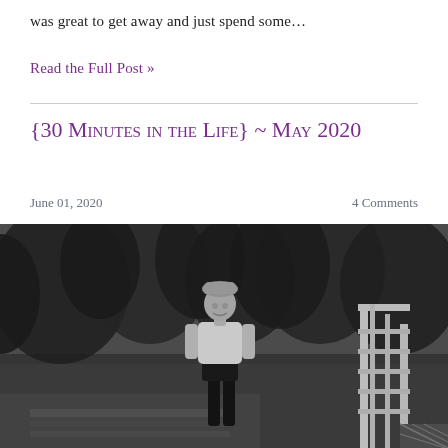was great to get away and just spend some…
Read the Full Post »
{30 Minutes in the Life} ~ May 2020
June 01, 2020    4 Comments
[Figure (photo): Black and white photograph of a young woman wearing a hat and white t-shirt with dark shorts, standing outdoors on wooden steps or a deck, surrounded by trees.]